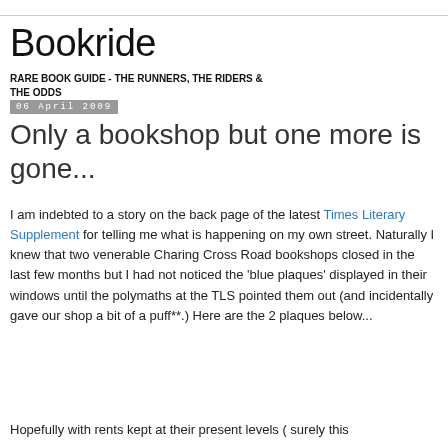Bookride
RARE BOOK GUIDE - THE RUNNERS, THE RIDERS & THE ODDS
06 April 2009
Only a bookshop but one more is gone...
I am indebted to a story on the back page of the latest Times Literary Supplement for telling me what is happening on my own street. Naturally I knew that two venerable Charing Cross Road bookshops closed in the last few months but I had not noticed the 'blue plaques' displayed in their windows until the polymaths at the TLS pointed them out (and incidentally gave our shop a bit of a puff**.) Here are the 2 plaques below...
Hopefully with rents kept at their present levels ( surely this